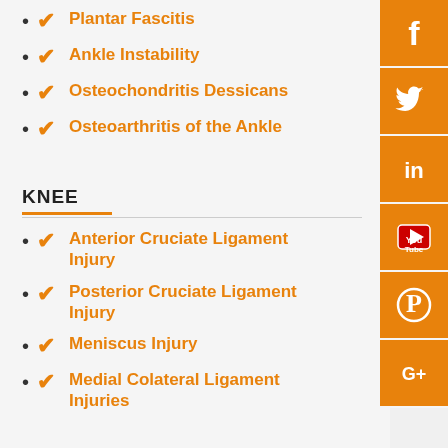Plantar Fascitis
Ankle Instability
Osteochondritis Dessicans
Osteoarthritis of the Ankle
KNEE
Anterior Cruciate Ligament Injury
Posterior Cruciate Ligament Injury
Meniscus Injury
Medial Colateral Ligament Injuries